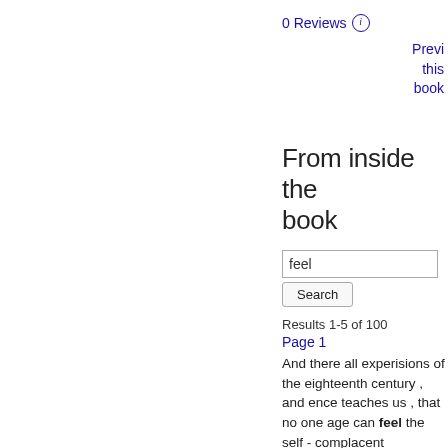0 Reviews ⓘ
Preview this book
From inside the book
feel
Search
Results 1-5 of 100
Page 1
And there all experisions of the eighteenth century , and ence teaches us , that no one age can feel the self - complacent confidence which the least assurance that its judgments , its critics and